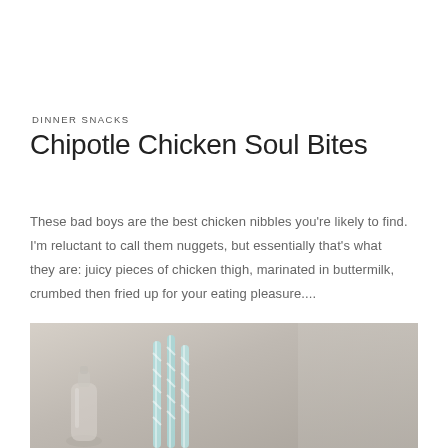DINNER SNACKS
Chipotle Chicken Soul Bites
These bad boys are the best chicken nibbles you're likely to find. I'm reluctant to call them nuggets, but essentially that's what they are: juicy pieces of chicken thigh, marinated in buttermilk, crumbed then fried up for your eating pleasure....
[Figure (photo): Photo of a glass bottle and teal striped paper straws in a tray on a rustic surface]